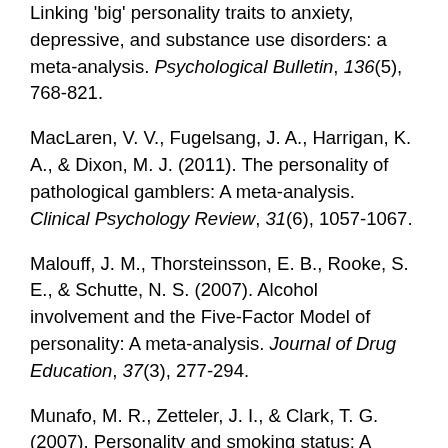Linking 'big' personality traits to anxiety, depressive, and substance use disorders: a meta-analysis. Psychological Bulletin, 136(5), 768-821.
MacLaren, V. V., Fugelsang, J. A., Harrigan, K. A., & Dixon, M. J. (2011). The personality of pathological gamblers: A meta-analysis. Clinical Psychology Review, 31(6), 1057-1067.
Malouff, J. M., Thorsteinsson, E. B., Rooke, S. E., & Schutte, N. S. (2007). Alcohol involvement and the Five-Factor Model of personality: A meta-analysis. Journal of Drug Education, 37(3), 277-294.
Munafo, M. R., Zetteler, J. I., & Clark, T. G. (2007). Personality and smoking status: A meta-analysis. Nicotine & Tobacco Research, 9(3), 405-413.
Nakken, C. (1996). The addictive personality...